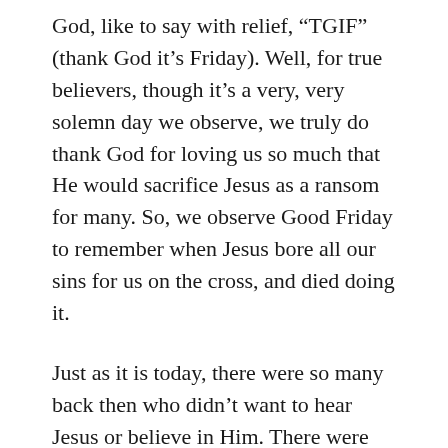God, like to say with relief, “TGIF” (thank God it’s Friday). Well, for true believers, though it’s a very, very solemn day we observe, we truly do thank God for loving us so much that He would sacrifice Jesus as a ransom for many. So, we observe Good Friday to remember when Jesus bore all our sins for us on the cross, and died doing it.
Just as it is today, there were so many back then who didn’t want to hear Jesus or believe in Him. There were those who got violent when presented with the Good News. There were those who wanted Him dead. So, I present it that way to my son, when he asks why people didn’t want to listen or believe. I tell him that, even